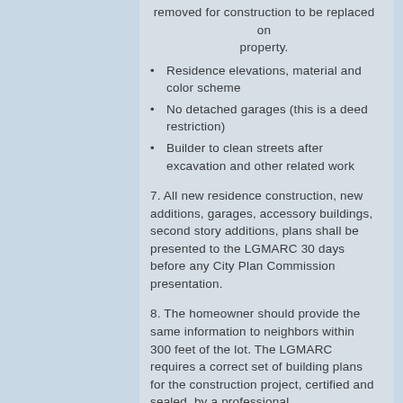removed for construction to be replaced on property.
Residence elevations, material and color scheme
No detached garages (this is a deed restriction)
Builder to clean streets after excavation and other related work
7. All new residence construction, new additions, garages, accessory buildings, second story additions, plans shall be presented to the LGMARC 30 days before any City Plan Commission presentation.
8. The homeowner should provide the same information to neighbors within 300 feet of the lot. The LGMARC requires a correct set of building plans for the construction project, certified and sealed, by a professional